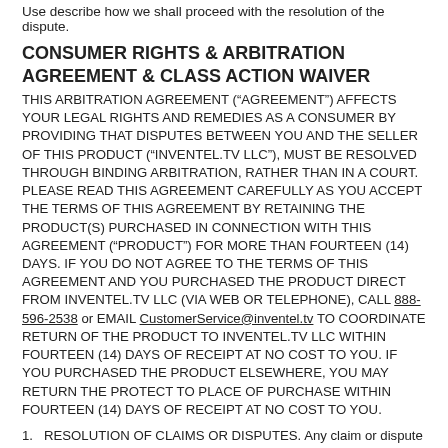Use describe how we shall proceed with the resolution of the dispute.
CONSUMER RIGHTS & ARBITRATION AGREEMENT & CLASS ACTION WAIVER
THIS ARBITRATION AGREEMENT (“AGREEMENT”) AFFECTS YOUR LEGAL RIGHTS AND REMEDIES AS A CONSUMER BY PROVIDING THAT DISPUTES BETWEEN YOU AND THE SELLER OF THIS PRODUCT (“INVENTEL.TV LLC”), MUST BE RESOLVED THROUGH BINDING ARBITRATION, RATHER THAN IN A COURT. PLEASE READ THIS AGREEMENT CAREFULLY AS YOU ACCEPT THE TERMS OF THIS AGREEMENT BY RETAINING THE PRODUCT(S) PURCHASED IN CONNECTION WITH THIS AGREEMENT (“PRODUCT”) FOR MORE THAN FOURTEEN (14) DAYS. IF YOU DO NOT AGREE TO THE TERMS OF THIS AGREEMENT AND YOU PURCHASED THE PRODUCT DIRECT FROM INVENTEL.TV LLC (VIA WEB OR TELEPHONE), CALL 888-596-2538 or EMAIL CustomerService@inventel.tv TO COORDINATE RETURN OF THE PRODUCT TO INVENTEL.TV LLC WITHIN FOURTEEN (14) DAYS OF RECEIPT AT NO COST TO YOU. IF YOU PURCHASED THE PRODUCT ELSEWHERE, YOU MAY RETURN THE PROTECT TO PLACE OF PURCHASE WITHIN FOURTEEN (14) DAYS OF RECEIPT AT NO COST TO YOU.
RESOLUTION OF CLAIMS OR DISPUTES. Any claim or dispute between you and InvenTel.TV LLC (or any of InvenTel’s subsidiaries or affiliates) arising out of or relating in any way to the Product or this